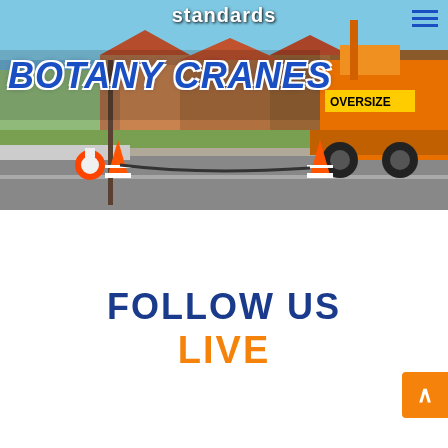[Figure (photo): Website screenshot showing a crane truck on a suburban street with traffic cones, residential houses in background, blue sky. Overlay text 'standards' at top and 'BOTANY CRANES' logo in bold italic blue with white outline.]
FOLLOW US
LIVE